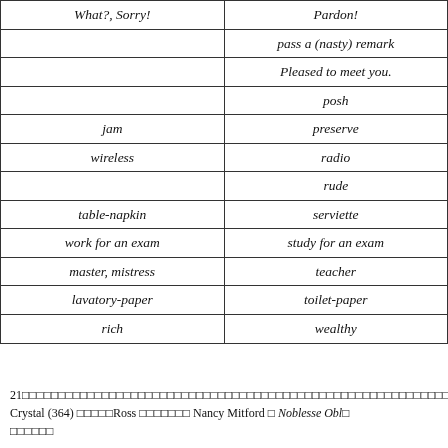| What?, Sorry! | Pardon! |
| --- | --- |
|  | pass a (nasty) remark |
|  | Pleased to meet you. |
|  | posh |
| jam | preserve |
| wireless | radio |
|  | rude |
| table-napkin | serviette |
| work for an exam | study for an exam |
| master, mistress | teacher |
| lavatory-paper | toilet-paper |
| rich | wealthy |
21□□□□□□□□□□□□□□□□□□□□□□□□□□□□□□□□□□□□□□□□□□□□□□□□□□□□□□□□□□□□□□□□□□□□□□□□□□□□□□□□□□□□□□□□□□
Crystal (364) □□□□□Ross □□□□□□□ Nancy Mitford □ Noblesse Obl...
□□□□□□